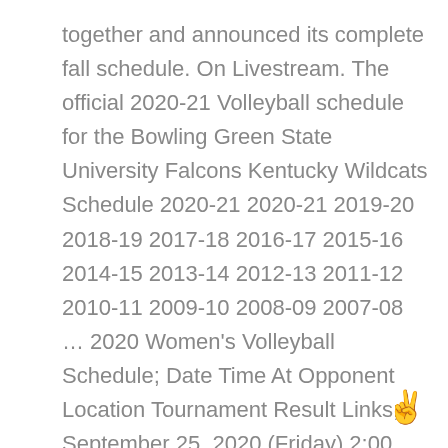together and announced its complete fall schedule. On Livestream. The official 2020-21 Volleyball schedule for the Bowling Green State University Falcons Kentucky Wildcats Schedule 2020-21 2020-21 2019-20 2018-19 2017-18 2016-17 2015-16 2014-15 2013-14 2012-13 2011-12 2010-11 2009-10 2008-09 2007-08 … 2020 Women's Volleyball Schedule; Date Time At Opponent Location Tournament Result Links; September 25, 2020 (Friday) 2:00 p.m. Home: Notre Dame: LOUISVILLE, KY L&N Federal Credit Union Arena: L, 0-3: Box Score; Recap; September 26, 2020